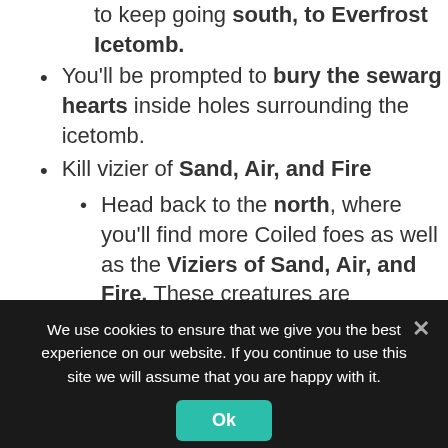Once finished, you'll need to keep going south, to Everfrost Icetomb.
You'll be prompted to bury the sewarg hearts inside holes surrounding the icetomb.
Kill vizier of Sand, Air, and Fire
Head back to the north, where you'll find more Coiled foes as well as the Viziers of Sand, Air, and Fire. These creatures are
We use cookies to ensure that we give you the best experience on our website. If you continue to use this site we will assume that you are happy with it.